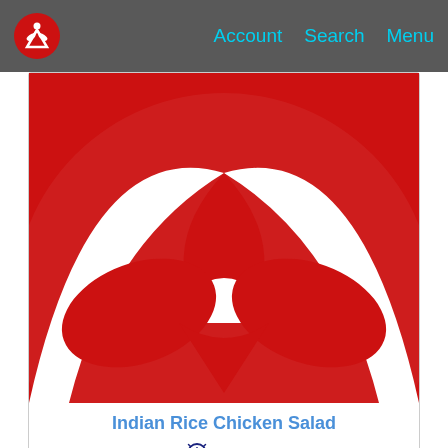Account  Search  Menu
[Figure (logo): Red circular logo with white figure design on dark grey navigation bar]
[Figure (logo): Large red and white stylized logo/illustration for Indian Rice Chicken Salad recipe card]
Indian Rice Chicken Salad
25 min
Easy
6 Portions
[Figure (logo): Large red and white stylized logo/illustration for second recipe card (partially visible)]